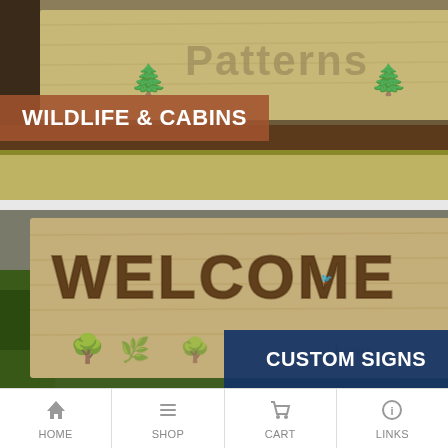[Figure (photo): Wooden signs with carved wildlife/forest motif and text 'Patterns' visible, displayed on a shelf]
WILDLIFE & CABINS
[Figure (photo): Large wooden carved sign reading 'WELCOME' with tree and bird engravings, greenery in foreground]
CUSTOM SIGNS
HOME  SHOP  CART  LINKS